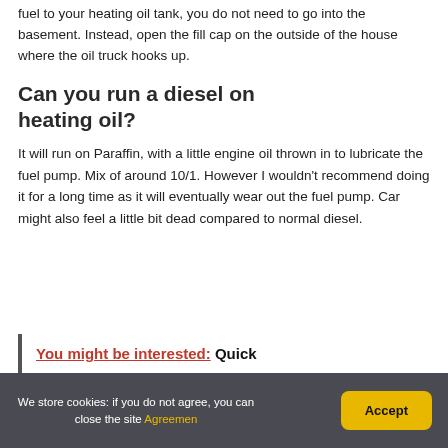fuel to your heating oil tank, you do not need to go into the basement. Instead, open the fill cap on the outside of the house where the oil truck hooks up.
Can you run a diesel on heating oil?
It will run on Paraffin, with a little engine oil thrown in to lubricate the fuel pump. Mix of around 10/1. However I wouldn't recommend doing it for a long time as it will eventually wear out the fuel pump. Car might also feel a little bit dead compared to normal diesel.
You might be interested: Quick
We store cookies: if you do not agree, you can close the site Agreemen